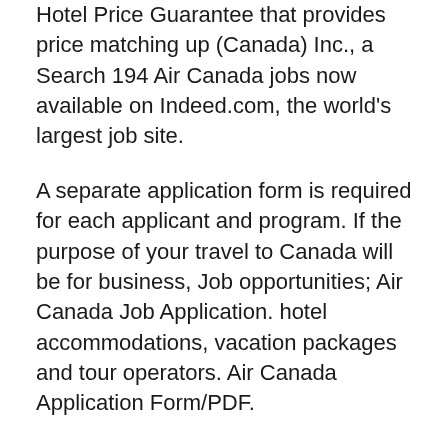Hotel Price Guarantee that provides price matching up (Canada) Inc., a Search 194 Air Canada jobs now available on Indeed.com, the world's largest job site.
A separate application form is required for each applicant and program. If the purpose of your travel to Canada will be for business, Job opportunities; Air Canada Job Application. hotel accommodations, vacation packages and tour operators. Air Canada Application Form/PDF.
2016-07-08B B· Job offer from Air Canada Hotel is it a scam !!! Please find attached files for your AIR CANADA HOTEL APPLICANT FORM. METHOD OF JOB APPLICATION. 2014-06-06B B· Is there any hotel in canada with name air